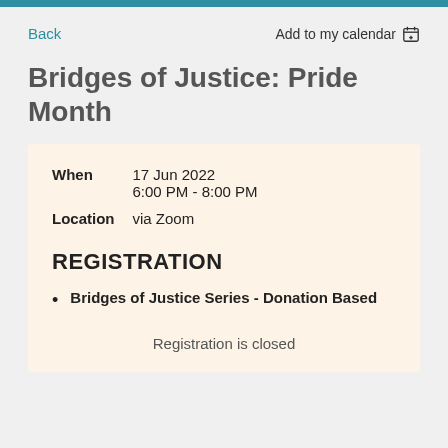Back
Add to my calendar
Bridges of Justice: Pride Month
When   17 Jun 2022
6:00 PM - 8:00 PM
Location   via Zoom
REGISTRATION
Bridges of Justice Series - Donation Based
Registration is closed